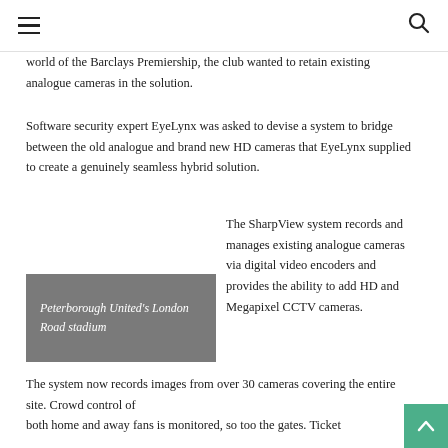≡  🔍
world of the Barclays Premiership, the club wanted to retain existing analogue cameras in the solution.
Software security expert EyeLynx was asked to devise a system to bridge between the old analogue and brand new HD cameras that EyeLynx supplied to create a genuinely seamless hybrid solution.
[Figure (photo): Grey placeholder box representing Peterborough United's London Road stadium image]
Peterborough United's London Road stadium
The SharpView system records and manages existing analogue cameras via digital video encoders and provides the ability to add HD and Megapixel CCTV cameras.
The system now records images from over 30 cameras covering the entire site. Crowd control of both home and away fans is monitored, so too the gates. Ticket